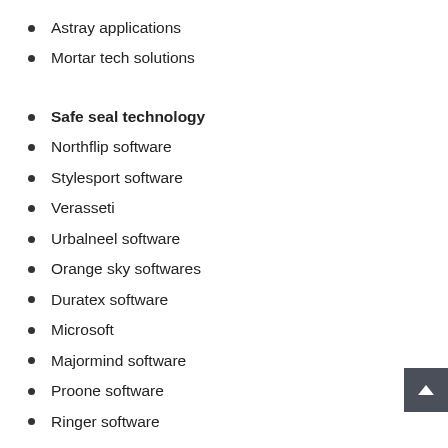Astray applications
Mortar tech solutions
Safe seal technology
Northflip software
Stylesport software
Verasseti
Urbalneel software
Orange sky softwares
Duratex software
Microsoft
Majormind software
Proone software
Ringer software